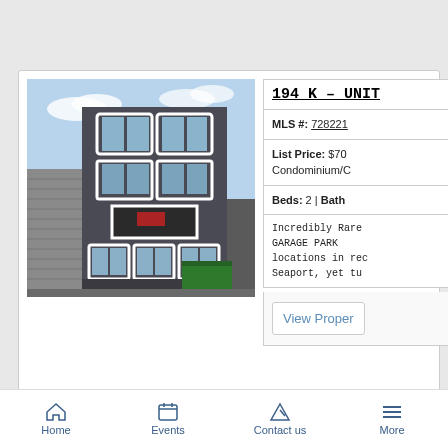[Figure (photo): Exterior photo of a dark gray multi-story residential building with white window trim, approximately 5 stories, on an urban street]
194 K – UNIT...
MLS #: 728221...
List Price: $70... Condominium/C...
Beds: 2 | Bath...
Incredibly Rare... GARAGE PARK... locations in rec... Seaport, yet tu...
View Proper...
Home    Events    Contact us    More